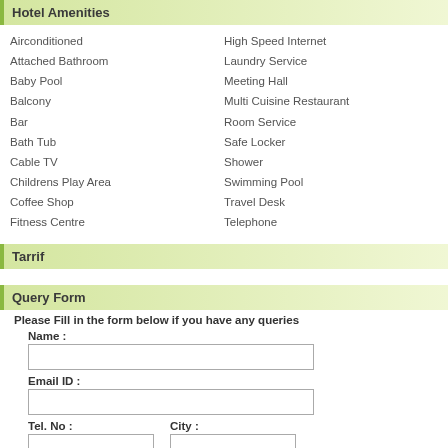Hotel Amenities
Airconditioned
Attached Bathroom
Baby Pool
Balcony
Bar
Bath Tub
Cable TV
Childrens Play Area
Coffee Shop
Fitness Centre
High Speed Internet
Laundry Service
Meeting Hall
Multi Cuisine Restaurant
Room Service
Safe Locker
Shower
Swimming Pool
Travel Desk
Telephone
Tarrif
Query Form
Please Fill in the form below if you have any queries
Name :
Email ID :
Tel. No :
City :
From :
To :
Query :